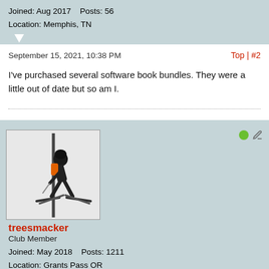Joined: Aug 2017    Posts: 56
Location: Memphis, TN
September 15, 2021, 10:38 PM
Top | #2
I've purchased several software book bundles. They were a little out of date but so am I.
[Figure (photo): Photo of a skier on a ski lift or pole, performing a trick against a white snowy background]
treesmacker
Club Member
Joined: May 2018    Posts: 1211
Location: Grants Pass OR
September 15, 2021, 11:14 PM
Top | #3
Originally posted by treesmacker